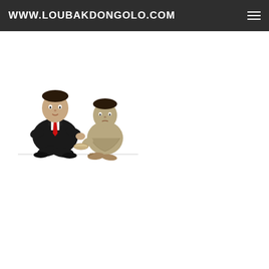WWW.LOUBAKDONGOLO.COM
[Figure (illustration): Cartoon illustration showing a well-dressed person in a dark suit with a red tie sitting next to a barefoot, poorly dressed person in beige/gray clothing who appears to be holding a bowl, depicting inequality or poverty themes]